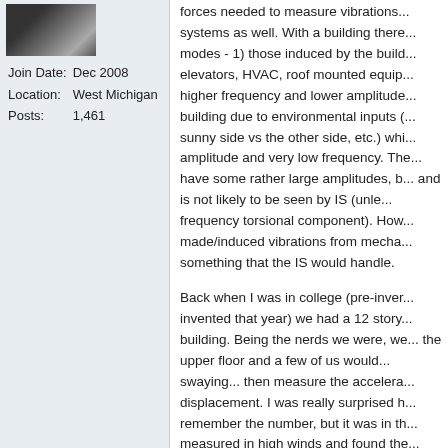[Figure (photo): User avatar photo, partial view of a person's face/head]
| Join Date: | Dec 2008 |
| Location: | West Michigan |
| Posts: | 1,461 |
forces needed to measure vibrations... systems as well. With a building there... modes - 1) those induced by the buil... elevators, HVAC, roof mounted equip... higher frequency and lower amplitude... building due to environmental inputs (... sunny side vs the other side, etc.) whi... amplitude and very low frequency. The... have some rather large amplitudes, b... and is not likely to be seen by IS (unle... frequency torsional component). How... made/induced vibrations from mecha... something that the IS would handle.
Back when I was in college (pre-inven... invented that year) we had a 12 story... building. Being the nerds we were, we... the upper floor and a few of us would... swaying... then measure the accelera... displacement. I was really surprised h... remember the number, but it was in th... measured in high winds and found the... high. If you were on the 24th floor in a... you would have problems with blur, bu... perpendicular to the direction of the w... torsional motion (which does not seer...
There... my nerd fix for the day. 😎
Pat